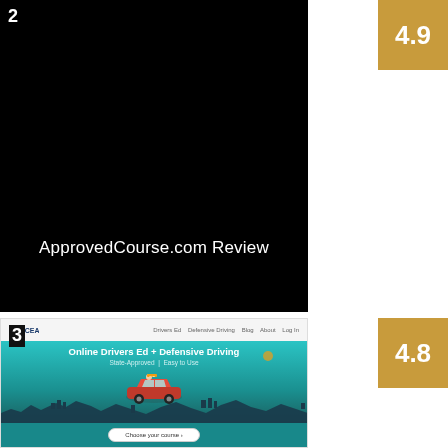2
[Figure (screenshot): Black background screenshot with text 'ApprovedCourse.com Review' centered near bottom]
4.9
3
[Figure (screenshot): Aceable website screenshot showing 'Online Drivers Ed + Defensive Driving, State-Approved | Easy to Use' with red car illustration and teal background]
4.8